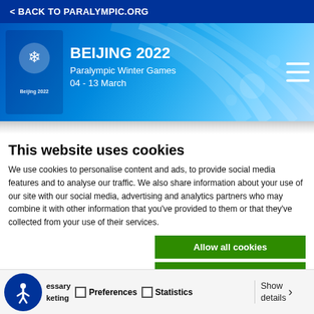< BACK TO PARALYMPIC.ORG
[Figure (screenshot): Beijing 2022 Paralympic Winter Games banner with blue gradient background, logo, title text, and hamburger menu icon]
This website uses cookies
We use cookies to personalise content and ads, to provide social media features and to analyse our traffic. We also share information about your use of our site with our social media, advertising and analytics partners who may combine it with other information that you've provided to them or that they've collected from your use of their services.
Allow all cookies
Allow selection
Use necessary cookies
Necessary  Preferences  Statistics  Show details